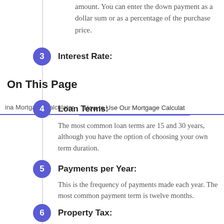amount. You can enter the down payment as a dollar sum or as a percentage of the purchase price.
3. Interest Rate:
On This Page
ina Mortgage Calculator    How to Use Our Mortgage Calculator
4. Loan Terms:
The most common loan terms are 15 and 30 years, although you have the option of choosing your own term duration.
5. Payments per Year:
This is the frequency of payments made each year. The most common payment term is twelve months.
6. Property Tax: